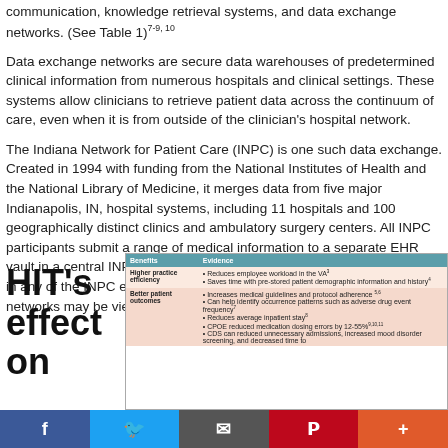communication, knowledge retrieval systems, and data exchange networks. (See Table 1)7-9, 10
Data exchange networks are secure data warehouses of predetermined clinical information from numerous hospitals and clinical settings. These systems allow clinicians to retrieve patient data across the continuum of care, even when it is from outside of the clinician's hospital network.
The Indiana Network for Patient Care (INPC) is one such data exchange. Created in 1994 with funding from the National Institutes of Health and the National Library of Medicine, it merges data from five major Indianapolis, IN, hospital systems, including 11 hospitals and 100 geographically distinct clinics and ambulatory surgery centers. All INPC participants submit a range of medical information to a separate EHR vault in a central INPC server. Now, for example, when a patient is seen in any of the INPC emergency departments, information from all five networks may be viewed in one consolidated virtual medical record.11
HIT's effect on
| Benefits | Evidence |
| --- | --- |
| Higher practice efficiency | Reduces employee workload in the VA³
Saves time with pre-stored patient demographic information and history⁴ |
| Better patient outcomes | Increases medical guidelines and protocol adherence⁵·⁶
Can help identify occurrence patterns such as adverse drug event frequency⁷
Reduces average inpatient stay⁸
CPOE reduced medication dosing errors by 12-55%⁹·¹⁰·¹¹
CDS can reduced unnecessary admissions, increased mood disorder screening, and decreased time to... |
[Figure (screenshot): Social media sharing bar with Facebook, Twitter, Email, Pinterest, and More buttons]